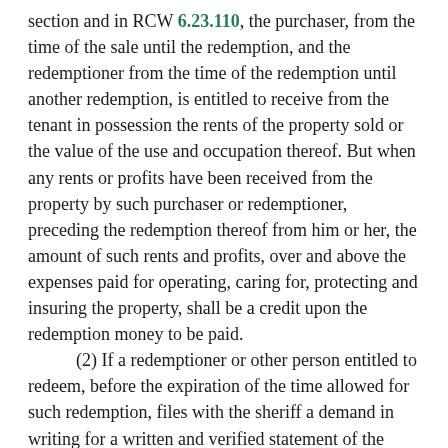section and in RCW 6.23.110, the purchaser, from the time of the sale until the redemption, and the redemptioner from the time of the redemption until another redemption, is entitled to receive from the tenant in possession the rents of the property sold or the value of the use and occupation thereof. But when any rents or profits have been received from the property by such purchaser or redemptioner, preceding the redemption thereof from him or her, the amount of such rents and profits, over and above the expenses paid for operating, caring for, protecting and insuring the property, shall be a credit upon the redemption money to be paid.
(2) If a redemptioner or other person entitled to redeem, before the expiration of the time allowed for such redemption, files with the sheriff a demand in writing for a written and verified statement of the amounts of rents and profits thus received and expenses paid and incurred, the period for redemption is extended five days after such a sworn statement is given by the person receiving such rents and profits, or by his or her agent, to the person making the demand